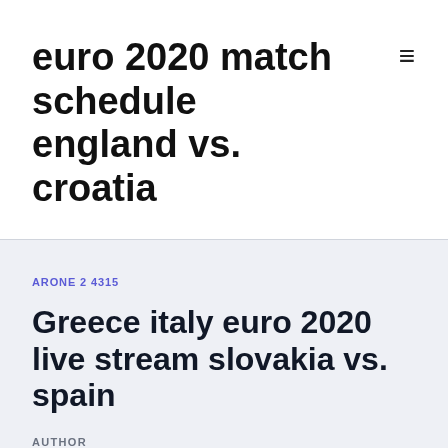euro 2020 match schedule england vs. croatia
ARONE 24315
Greece italy euro 2020 live stream slovakia vs. spain
AUTHOR
Kick-off set for 8.45pm local time - making it a 7 Nov 17, 2019 · Spain will play their final UEFA Euro 2020